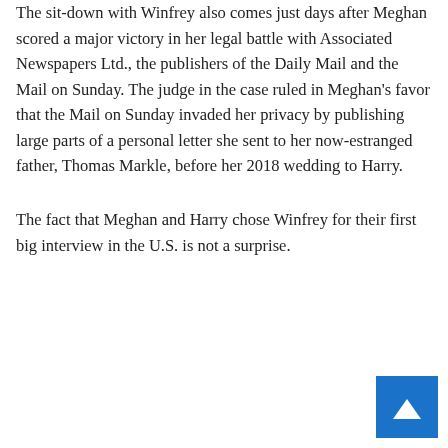The sit-down with Winfrey also comes just days after Meghan scored a major victory in her legal battle with Associated Newspapers Ltd., the publishers of the Daily Mail and the Mail on Sunday. The judge in the case ruled in Meghan's favor that the Mail on Sunday invaded her privacy by publishing large parts of a personal letter she sent to her now-estranged father, Thomas Markle, before her 2018 wedding to Harry.
The fact that Meghan and Harry chose Winfrey for their first big interview in the U.S. is not a surprise.